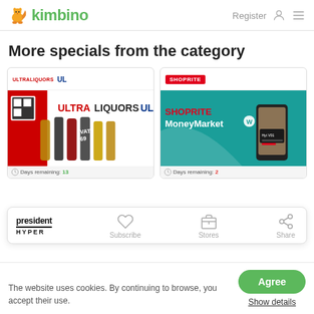[Figure (logo): Kimbino logo with orange squirrel and green text, Register link and hamburger menu on the right]
More specials from the category
[Figure (screenshot): Ultra Liquors promotional card with liquor bottles image and Days remaining: 13]
[Figure (screenshot): Shoprite MoneyMarket promotional card with phone image and Days remaining: 2]
[Figure (infographic): Floating bottom panel showing President Hyper logo, Subscribe, Stores, Share actions]
The website uses cookies. By continuing to browse, you accept their use.